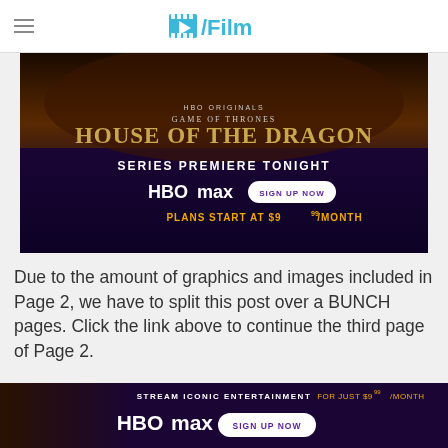/Film
[Figure (photo): HBO Max advertisement for House of the Dragon — Series Premiere Tonight. HBO Originals / Game of Thrones branding. Plans start at $9.99/month. Sign Up Now button.]
Due to the amount of graphics and images included in Page 2, we have to split this post over a BUNCH pages. Click the link above to continue the third page of Page 2.
[Figure (photo): HBO Max advertisement — Stream Iconic Entertainment for just $9.99/month. Sign Up Now button.]